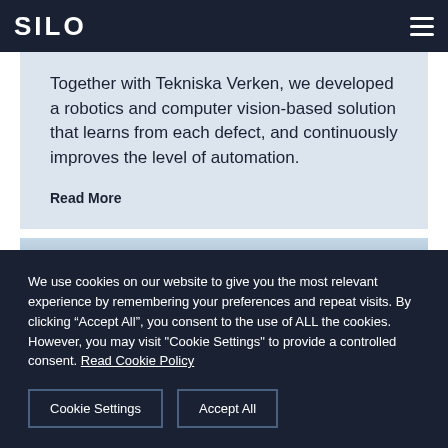SILO AI
Together with Tekniska Verken, we developed a robotics and computer vision-based solution that learns from each defect, and continuously improves the level of automation.
Read More
[Figure (photo): Panoramic landscape photo showing a misty seascape or flat terrain under a grey overcast sky]
We use cookies on our website to give you the most relevant experience by remembering your preferences and repeat visits. By clicking “Accept All”, you consent to the use of ALL the cookies. However, you may visit "Cookie Settings" to provide a controlled consent. Read Cookie Policy
Cookie Settings
Accept All